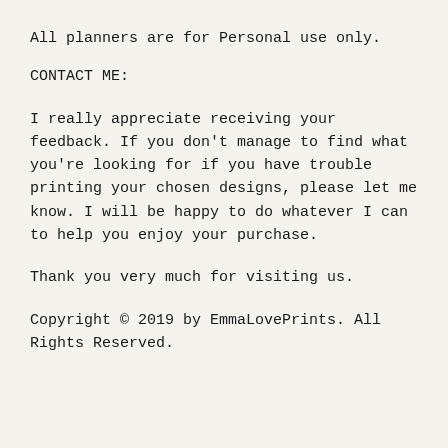All planners are for Personal use only.
CONTACT ME:
I really appreciate receiving your feedback. If you don't manage to find what you're looking for if you have trouble printing your chosen designs, please let me know. I will be happy to do whatever I can to help you enjoy your purchase.
Thank you very much for visiting us.
Copyright © 2019 by EmmaLovePrints. All Rights Reserved.